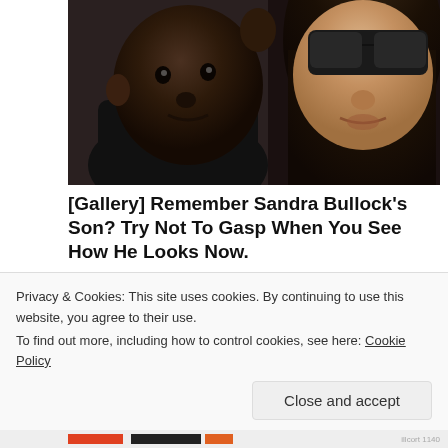[Figure (photo): A woman with sunglasses and long dark hair holding a young child dressed in dark clothing. Close-up paparazzi-style photo.]
[Gallery] Remember Sandra Bullock's Son? Try Not To Gasp When You See How He Looks Now.
Travel Like A Star
Share this:
Privacy & Cookies: This site uses cookies. By continuing to use this website, you agree to their use.
To find out more, including how to control cookies, see here: Cookie Policy
Close and accept